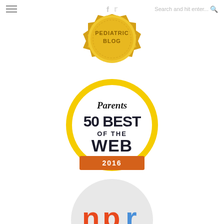Menu | f t | Search and hit enter...
[Figure (logo): Gold badge/seal with text 'PEDIATRIC BLOG' - partial view, showing bottom half of the gold medallion award badge]
[Figure (logo): Parents magazine '50 BEST OF THE WEB 2016' circular badge with yellow/gold ring and orange banner at the bottom]
[Figure (logo): NPR (National Public Radio) logo in a light gray circle - orange 'n', orange and blue 'p', blue 'r']